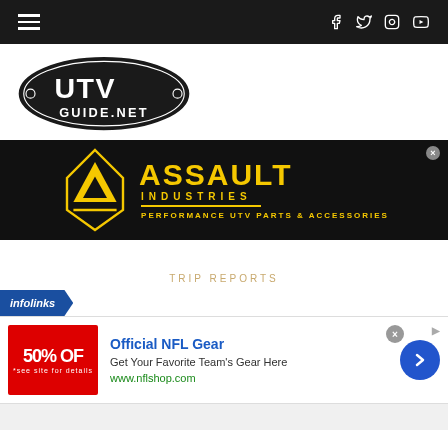Navigation bar with hamburger menu and social icons (Facebook, Twitter, Instagram, YouTube)
[Figure (logo): UTV Guide.net oval logo — white text on black oval with decorative border]
[Figure (screenshot): Assault Industries advertisement — Performance UTV Parts & Accessories, black background with yellow logo]
TRIP REPORTS
[Figure (screenshot): Infolinks ad overlay badge]
[Figure (screenshot): Official NFL Gear advertisement — 50% OFF, Get Your Favorite Team's Here, www.nflshop.com]
[Figure (screenshot): Bottom gray page section]